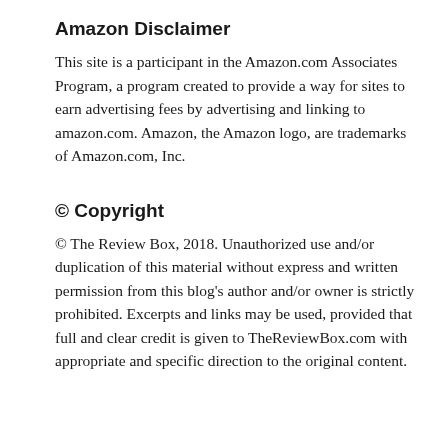Amazon Disclaimer
This site is a participant in the Amazon.com Associates Program, a program created to provide a way for sites to earn advertising fees by advertising and linking to amazon.com. Amazon, the Amazon logo, are trademarks of Amazon.com, Inc.
© Copyright
© The Review Box, 2018. Unauthorized use and/or duplication of this material without express and written permission from this blog's author and/or owner is strictly prohibited. Excerpts and links may be used, provided that full and clear credit is given to TheReviewBox.com with appropriate and specific direction to the original content.